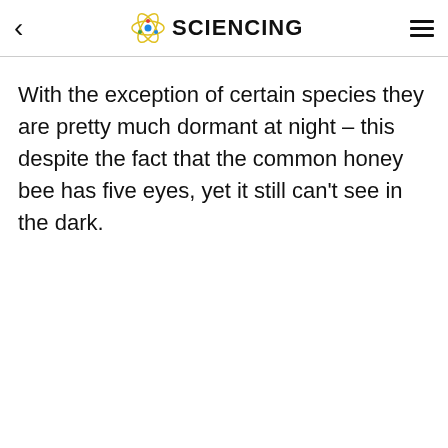SCIENCING
With the exception of certain species they are pretty much dormant at night – this despite the fact that the common honey bee has five eyes, yet it still can't see in the dark.